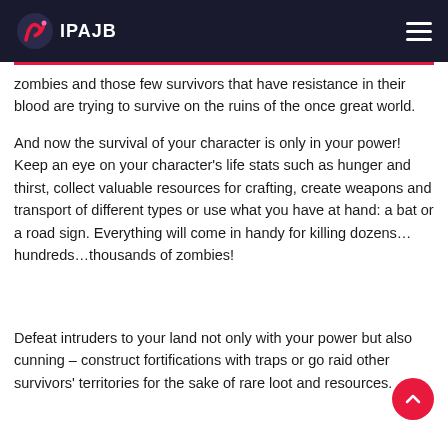IPAJB
zombies and those few survivors that have resistance in their blood are trying to survive on the ruins of the once great world.
And now the survival of your character is only in your power! Keep an eye on your character’s life stats such as hunger and thirst, collect valuable resources for crafting, create weapons and transport of different types or use what you have at hand: a bat or a road sign. Everything will come in handy for killing dozens… hundreds…thousands of zombies!
Defeat intruders to your land not only with your power but also cunning – construct fortifications with traps or go raid other survivors’ territories for the sake of rare loot and resources.